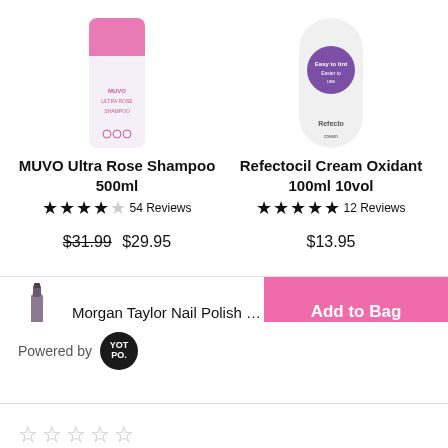[Figure (photo): MUVO Ultra Rose Shampoo 500ml product image - white/pink bottle]
MUVO Ultra Rose Shampoo 500ml
★★★★☆ 54 Reviews
$31.99  $29.95
[Figure (photo): Refectocil Cream Oxidant 100ml 10vol product image - white bottle with purple circle]
Refectocil Cream Oxidant 100ml 10vol
★★★★★ 12 Reviews
$13.95
[Figure (photo): Morgan Taylor Nail Polish small bottle thumbnail]
Morgan Taylor Nail Polish | Or-C...
Add to Bag
Powered by
[Figure (logo): Yotpo logo - black circle with YOT PO. text in white]
☆☆☆☆☆